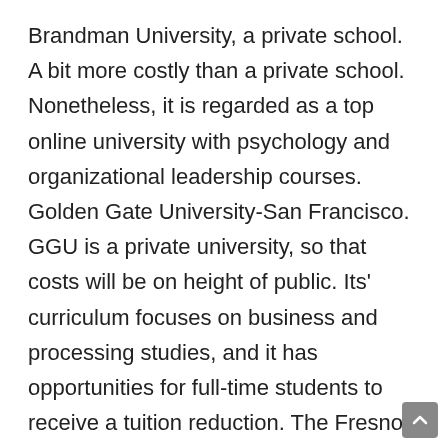Brandman University, a private school.  A bit more costly than a private school. Nonetheless, it is regarded as a top online university with psychology and organizational leadership courses. Golden Gate University-San Francisco. GGU is a private university, so that costs will be on height of public. Its' curriculum focuses on business and processing studies, and it has opportunities for full-time students to receive a tuition reduction. The Fresno Pacific University. Like GGU, Fresno Pacific is private and therefore, more costly. The courses offered range from criminology to health care administration studies. Aside from the Universities listed above, several more are considered in the course of the best online colleges. These tally California State University Dominguez Hills. This online scholastic allows students to take open enrollment classes, meaning they